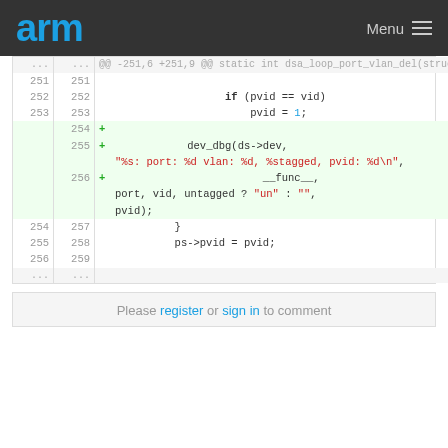arm   Menu
Code diff showing lines 251-259 with additions at 254-256 in dsa_loop_port_vlan_del function
Please register or sign in to comment